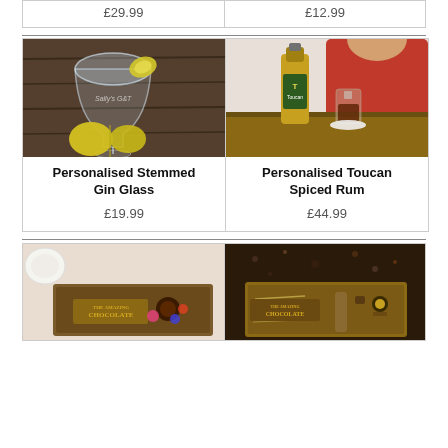£29.99
£12.99
[Figure (photo): Personalised stemmed gin glass with ice and lemon slice on wooden background]
[Figure (photo): Personalised Toucan Spiced Rum bottle with rum cocktail and woman in red top]
Personalised Stemmed Gin Glass
Personalised Toucan Spiced Rum
£19.99
£44.99
[Figure (photo): Amazing Chocolate gift box with colourful chocolate items]
[Figure (photo): Amazing Chocolate gift box with chocolates on straw bedding]